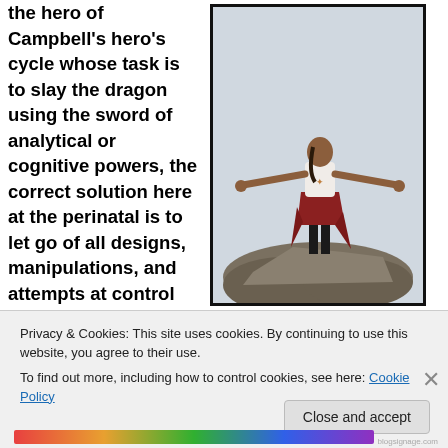the hero of Campbell's hero's cycle whose task is to slay the dragon using the sword of analytical or cognitive powers, the correct solution here at the perinatal is to let go of all designs, manipulations, and attempts at control and
[Figure (photo): Person standing on rocks with arms outstretched against a light sky background]
Privacy & Cookies: This site uses cookies. By continuing to use this website, you agree to their use.
To find out more, including how to control cookies, see here: Cookie Policy
Close and accept